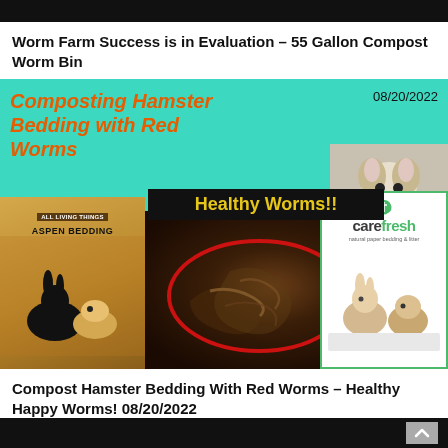[Figure (screenshot): Black top navigation bar]
Worm Farm Success is in Evaluation – 55 Gallon Compost Worm Bin
[Figure (photo): Thumbnail image for video: Composting Hamster Bedding with Red Worms, dated 08/20/2022. Shows aspen bedding product on left, worm compost with red circle highlighting worms in center with 'Healthy Worms!!' banner, carefresh product on right, and hamster photo top right. Teal/mint green background.]
Compost Hamster Bedding With Red Worms – Healthy Happy Worms! 08/20/2022
[Figure (screenshot): Black bottom navigation bar with scroll-to-top button]